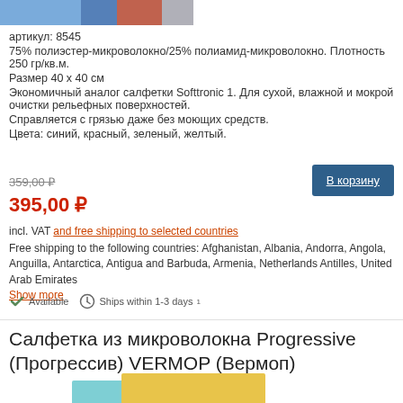[Figure (photo): Top cropped image of colorful microfiber cloths in blue, red, and gray.]
артикул: 8545
75% полиэстер-микроволокно/25% полиамид-микроволокно. Плотность 250 гр/кв.м.
Размер 40 х 40 см
Экономичный аналог салфетки Softtronic 1. Для сухой, влажной и мокрой очистки рельефных поверхностей.
Справляется с грязью даже без моющих средств.
Цвета: синий, красный, зеленый, желтый.
359,00 ₽
В корзину
395,00 ₽
incl. VAT and free shipping to selected countries
Free shipping to the following countries: Afghanistan, Albania, Andorra, Angola, Anguilla, Antarctica, Antigua and Barbuda, Armenia, Netherlands Antilles, United Arab Emirates
Show more
Available   Ships within 1-3 days¹
Салфетка из микроволокна Progressive (Прогрессив) VERMOP (Вермоп)
[Figure (photo): Bottom cropped image of blue and yellow microfiber cloths.]